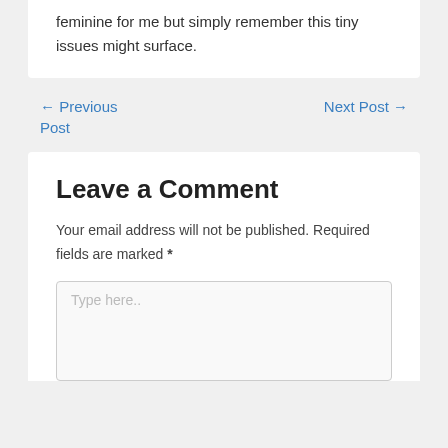feminine for me but simply remember this tiny issues might surface.
← Previous Post
Next Post →
Leave a Comment
Your email address will not be published. Required fields are marked *
Type here..